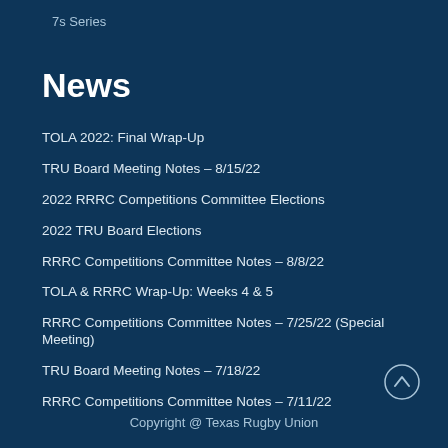7s Series
News
TOLA 2022: Final Wrap-Up
TRU Board Meeting Notes – 8/15/22
2022 RRRC Competitions Committee Elections
2022 TRU Board Elections
RRRC Competitions Committee Notes – 8/8/22
TOLA & RRRC Wrap-Up: Weeks 4 & 5
RRRC Competitions Committee Notes – 7/25/22 (Special Meeting)
TRU Board Meeting Notes – 7/18/22
RRRC Competitions Committee Notes – 7/11/22
Copyright @ Texas Rugby Union